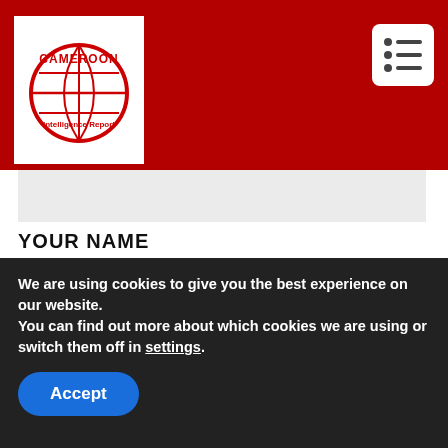[Figure (logo): Cameroon Intelligence Report logo - globe icon with text in red and white, on white background, inside dark red header with hamburger menu button on right]
YOUR NAME
YOUR EMAIL
YOUR WEBSITE
We are using cookies to give you the best experience on our website.
You can find out more about which cookies we are using or switch them off in settings.
Accept